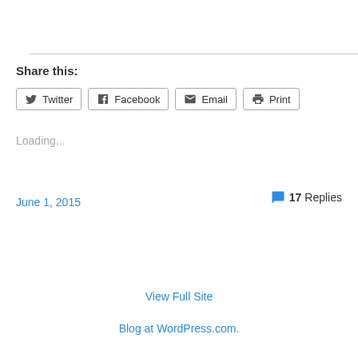Share this:
Twitter
Facebook
Email
Print
Loading...
June 1, 2015
17 Replies
View Full Site
Blog at WordPress.com.